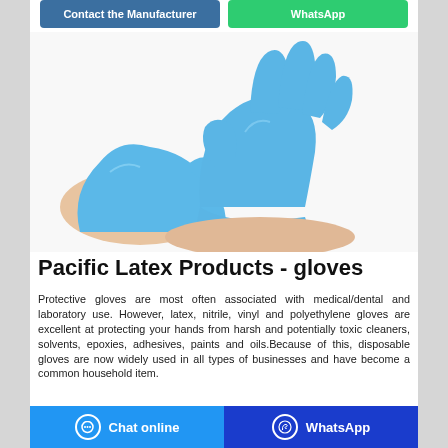[Figure (screenshot): Two blue nitrile/latex protective gloves being worn and displayed against a white background — one hand pulling on the glove of the other.]
Pacific Latex Products - gloves
Protective gloves are most often associated with medical/dental and laboratory use. However, latex, nitrile, vinyl and polyethylene gloves are excellent at protecting your hands from harsh and potentially toxic cleaners, solvents, epoxies, adhesives, paints and oils.Because of this, disposable gloves are now widely used in all types of businesses and have become a common household item.
Chat online  |  WhatsApp